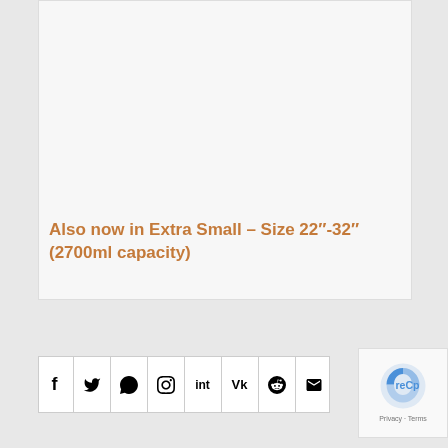Also now in Extra Small – Size 22"-32" (2700ml capacity)
[Figure (other): Social media share buttons bar showing icons for Facebook, Twitter, WhatsApp, Pinterest, VK, Reddit, and email]
[Figure (other): reCAPTCHA widget showing the reCAPTCHA logo with Privacy and Terms links]